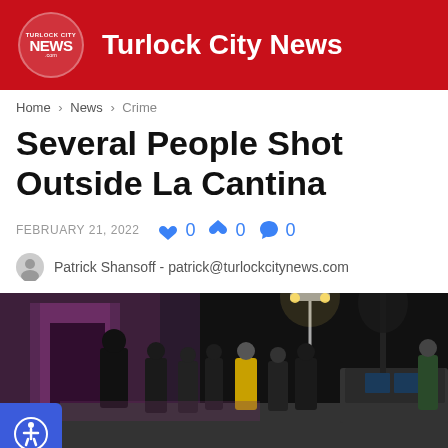Turlock City News
Home > News > Crime
Several People Shot Outside La Cantina
FEBRUARY 21, 2022  👍 0  👎 0  💬 0
Patrick Shansoff - patrick@turlockcitynews.com
[Figure (photo): Night scene outside La Cantina bar showing a crowd of people on a sidewalk with emergency personnel, street lights and a vehicle visible in the background. Purple/pink lighting visible near building entrance.]